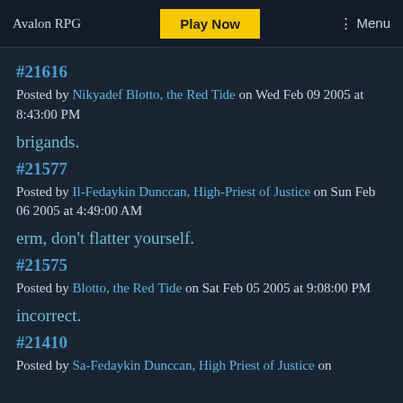Avalon RPG | Play Now | Menu
#21616
Posted by Nikyadef Blotto, the Red Tide on Wed Feb 09 2005 at 8:43:00 PM
brigands.
#21577
Posted by Il-Fedaykin Dunccan, High-Priest of Justice on Sun Feb 06 2005 at 4:49:00 AM
erm, don't flatter yourself.
#21575
Posted by Blotto, the Red Tide on Sat Feb 05 2005 at 9:08:00 PM
incorrect.
#21410
Posted by Sa-Fedaykin Dunccan, High Priest of Justice on